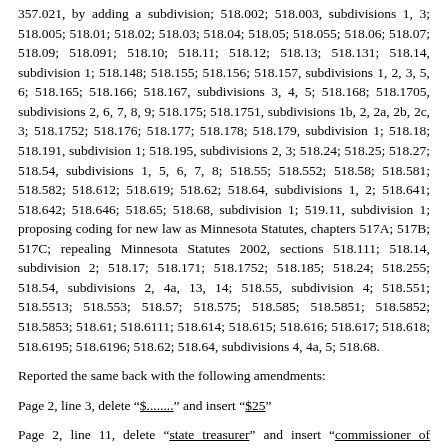357.021, by adding a subdivision; 518.002; 518.003, subdivisions 1, 3; 518.005; 518.01; 518.02; 518.03; 518.04; 518.05; 518.055; 518.06; 518.07; 518.09; 518.091; 518.10; 518.11; 518.12; 518.13; 518.131; 518.14, subdivision 1; 518.148; 518.155; 518.156; 518.157, subdivisions 1, 2, 3, 5, 6; 518.165; 518.166; 518.167, subdivisions 3, 4, 5; 518.168; 518.1705, subdivisions 2, 6, 7, 8, 9; 518.175; 518.1751, subdivisions 1b, 2, 2a, 2b, 2c, 3; 518.1752; 518.176; 518.177; 518.178; 518.179, subdivision 1; 518.18; 518.191, subdivision 1; 518.195, subdivisions 2, 3; 518.24; 518.25; 518.27; 518.54, subdivisions 1, 5, 6, 7, 8; 518.55; 518.552; 518.58; 518.581; 518.582; 518.612; 518.619; 518.62; 518.64, subdivisions 1, 2; 518.641; 518.642; 518.646; 518.65; 518.68, subdivision 1; 519.11, subdivision 1; proposing coding for new law as Minnesota Statutes, chapters 517A; 517B; 517C; repealing Minnesota Statutes 2002, sections 518.111; 518.14, subdivision 2; 518.17; 518.171; 518.1752; 518.185; 518.24; 518.255; 518.54, subdivisions 2, 4a, 13, 14; 518.55, subdivision 4; 518.551; 518.5513; 518.553; 518.57; 518.575; 518.585; 518.5851; 518.5852; 518.5853; 518.61; 518.6111; 518.614; 518.615; 518.616; 518.617; 518.618; 518.6195; 518.6196; 518.62; 518.64, subdivisions 4, 4a, 5; 518.68.
Reported the same back with the following amendments:
Page 2, line 3, delete "$........" and insert "$25"
Page 2, line 11, delete "state treasurer" and insert "commissioner of finance"